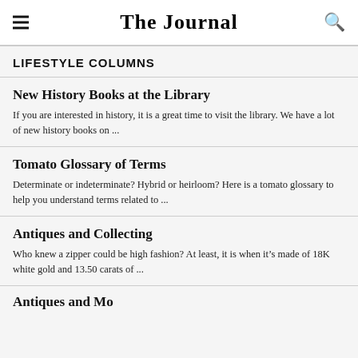The Journal
LIFESTYLE COLUMNS
New History Books at the Library
If you are interested in history, it is a great time to visit the library. We have a lot of new history books on ...
Tomato Glossary of Terms
Determinate or indeterminate? Hybrid or heirloom? Here is a tomato glossary to help you understand terms related to ...
Antiques and Collecting
Who knew a zipper could be high fashion? At least, it is when it’s made of 18K white gold and 13.50 carats of ...
Antiques and More